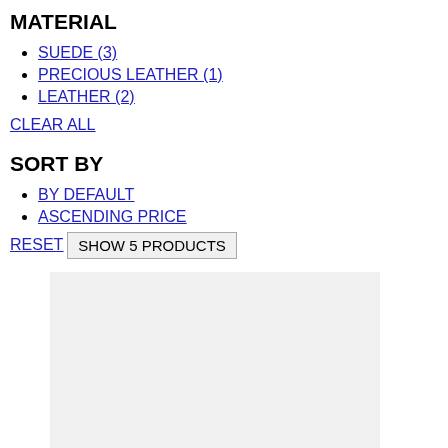MATERIAL
SUEDE (3)
PRECIOUS LEATHER (1)
LEATHER (2)
CLEAR ALL
SORT BY
BY DEFAULT
ASCENDING PRICE
RESET   SHOW 5 PRODUCTS
[Figure (other): Light gray placeholder image area]